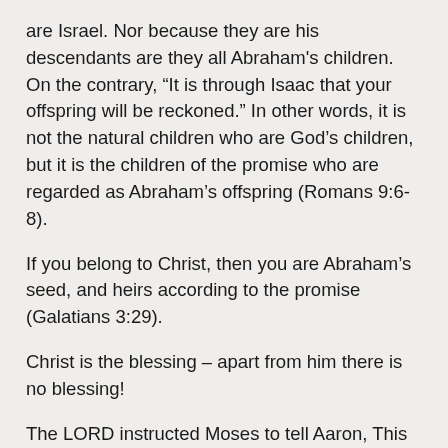are Israel. Nor because they are his descendants are they all Abraham's children. On the contrary, “It is through Isaac that your offspring will be reckoned.” In other words, it is not the natural children who are God’s children, but it is the children of the promise who are regarded as Abraham’s offspring (Romans 9:6-8).
If you belong to Christ, then you are Abraham’s seed, and heirs according to the promise (Galatians 3:29).
Christ is the blessing – apart from him there is no blessing!
The LORD instructed Moses to tell Aaron, This is how you are to bless the Israelites. Say to them: “The LORD bless you…” (Numbers 6:22-23). To bless others in the Name of the LORD would imply invoking the favour of the LORD upon them. Is it possible to bless anyone while sin and